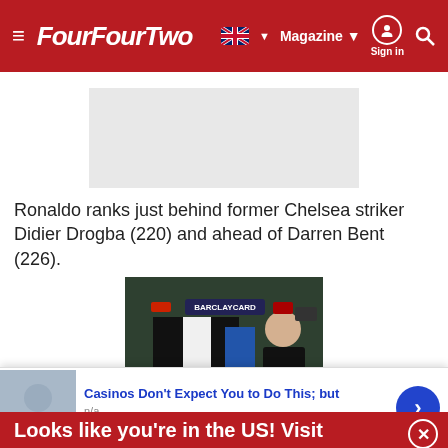FourFourTwo — Magazine | Sign in
[Figure (other): Grey advertisement placeholder rectangle]
Ronaldo ranks just behind former Chelsea striker Didier Drogba (220) and ahead of Darren Bent (226).
[Figure (photo): Photo of Alan Shearer holding a Newcastle United shirt with SHEARER printed on it, at a Barclaycard Premier League event]
Looks like you're in the US! Visit
[Figure (other): Advertisement widget at bottom: Casinos Don't Expect You to Do This; but — n/a — daily-winners.com]